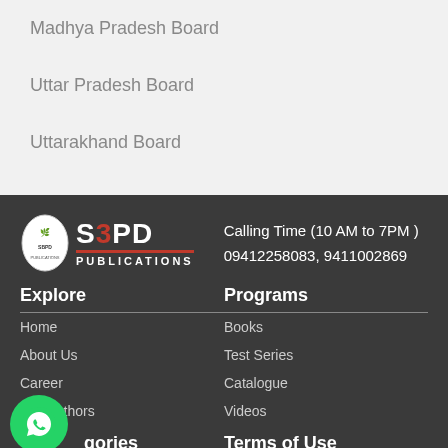Madhya Pradesh Board
Uttar Pradesh Board
Uttarakhand Board
[Figure (logo): SBPD Publications logo with oval emblem and bold SBPD text with orange underline]
Calling Time (10 AM to 7PM )
09412258083, 9411002869
Explore
Home
About Us
Career
Our Authors
Programs
Books
Test Series
Catalogue
Videos
...gories
Terms of Use